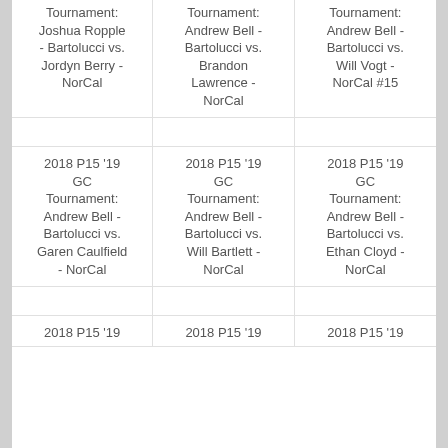Tournament: Joshua Ropple - Bartolucci vs. Jordyn Berry - NorCal
Tournament: Andrew Bell - Bartolucci vs. Brandon Lawrence - NorCal
Tournament: Andrew Bell - Bartolucci vs. Will Vogt - NorCal #15
2018 P15 '19 GC Tournament: Andrew Bell - Bartolucci vs. Garen Caulfield - NorCal
2018 P15 '19 GC Tournament: Andrew Bell - Bartolucci vs. Will Bartlett - NorCal
2018 P15 '19 GC Tournament: Andrew Bell - Bartolucci vs. Ethan Cloyd - NorCal
2018 P15 '19
2018 P15 '19
2018 P15 '19